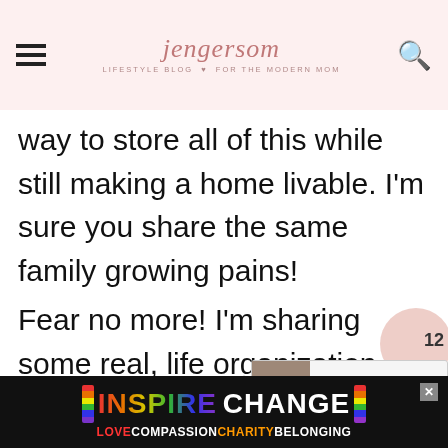jengersom — LIFESTYLE BLOG FOR THE MODERN MOM
way to store all of this while still making a home livable. I'm sure you share the same family growing pains!
Fear no more! I'm sharing some real, life organization solutions that inclu an ultimate roundup of rustic farmhouse bins and cottage style b...very w°
[Figure (screenshot): Social share overlay with number 12 and a card showing 'Farmhouse Storage and...' with a small product image]
[Figure (infographic): Advertisement banner: INSPIRE CHANGE in rainbow/white bold text, LOVECOMPASSIONCHARITYBELONGING in colored text below, with X close button, rainbow stripe decoration]